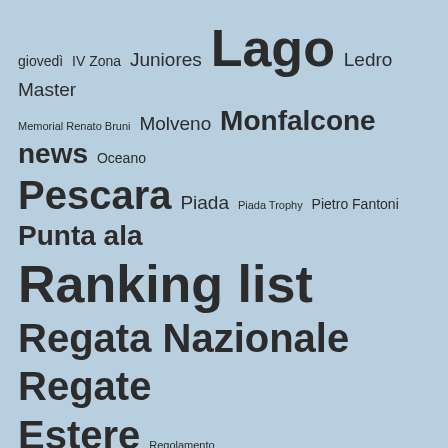[Figure (infographic): Word cloud on a light blue background with Italian and geographic terms in varying font sizes indicating frequency/importance. Terms include: giovedì, IV Zona, Juniores, Lago, Ledro, Master, Memorial Renato Bruni, Molveno, Monfalcone, news, Oceano, Pescara, Piada, Piada Trophy, Pietro Fantoni, Punta ala, Ranking list, Regata Nazionale, Regate Estere, Regolamento, Resoconti, Riccione, Rimini, Risultati, Roma, Romagna, Sanremo, Santiago de la Ribera, Segretario, Snipe Bulletin, Spagna, Spalato, Talamone, tecnica, Tirreno, Trieste, Trofeo Mignani, Valencia, Winter Trophy, XIII Zona, XI Zona, Zonale, Zonale XIV Zona]